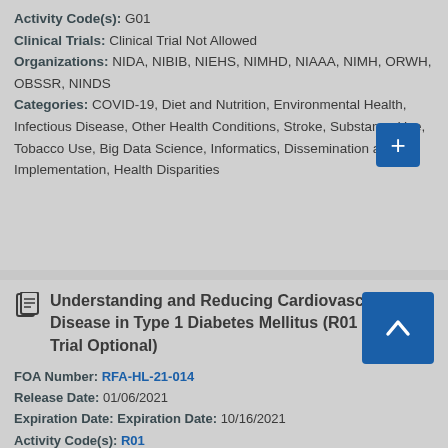Activity Code(s): G01
Clinical Trials: Clinical Trial Not Allowed
Organizations: NIDA, NIBIB, NIEHS, NIMHD, NIAAA, NIMH, ORWH, OBSSR, NINDS
Categories: COVID-19, Diet and Nutrition, Environmental Health, Infectious Disease, Other Health Conditions, Stroke, Substance Use, Tobacco Use, Big Data Science, Informatics, Dissemination and Implementation, Health Disparities
Understanding and Reducing Cardiovascular Disease in Type 1 Diabetes Mellitus (R01 Clinical Trial Optional)
FOA Number: RFA-HL-21-014
Release Date: 01/06/2021
Expiration Date: Expiration Date: 10/16/2021
Activity Code(s): R01